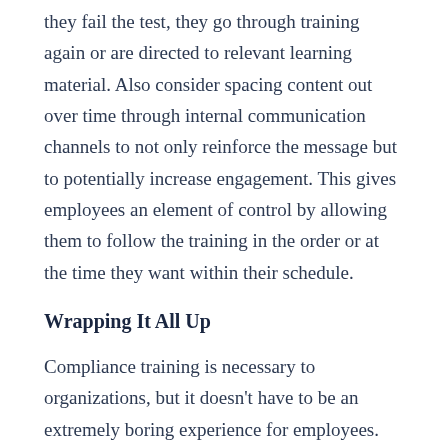they fail the test, they go through training again or are directed to relevant learning material. Also consider spacing content out over time through internal communication channels to not only reinforce the message but to potentially increase engagement. This gives employees an element of control by allowing them to follow the training in the order or at the time they want within their schedule.
Wrapping It All Up
Compliance training is necessary to organizations, but it doesn't have to be an extremely boring experience for employees. Understanding your target audience helps create relatable training content that can be challenging